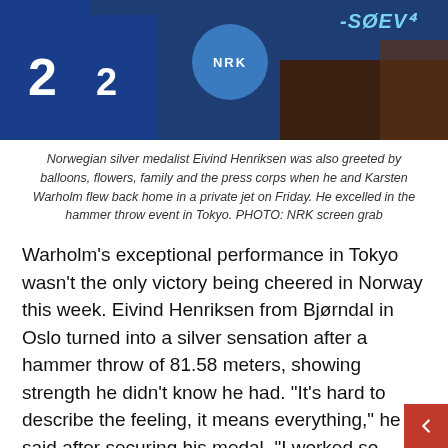[Figure (photo): Norwegian athletes in blue jerseys, NRK logo visible in background]
Norwegian silver medalist Eivind Henriksen was also greeted by balloons, flowers, family and the press corps when he and Karsten Warholm flew back home in a private jet on Friday. He excelled in the hammer throw event in Tokyo. PHOTO: NRK screen grab
Warholm's exceptional performance in Tokyo wasn't the only victory being cheered in Norway this week. Eivind Henriksen from Bjørndal in Oslo turned into a silver sensation after a hammer throw of 81.58 meters, showing strength he didn't know he had. “It's hard to describe the feeling, it means everything,” he said after securing his medal. “I worked so many years. I'm just shocked.”
Wojciech Nowicki of Poland threw farthest, 82.52 meters, to win the gold, but the 30-year-old Henriksen was delighted anyway. And moved, because his coach, Einar Brynemo died